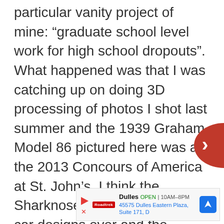particular vanity project of mine: “graduate school level work for high school dropouts”. What happened was that I was catching up on doing 3D processing of photos I shot last summer and the 1939 Graham Model 86 pictured here was at the 2013 Concours of America at St. John’s. I think the Sharknose is one of the coolest car designs ever and the Batmobile issue is as good an excuse as any write about the Graham and the men who made it. We’ll take a look at the Graham brothers and how they came to make the Sharknose in Part Two.
[Figure (other): Red circular navigation arrow button on the right side]